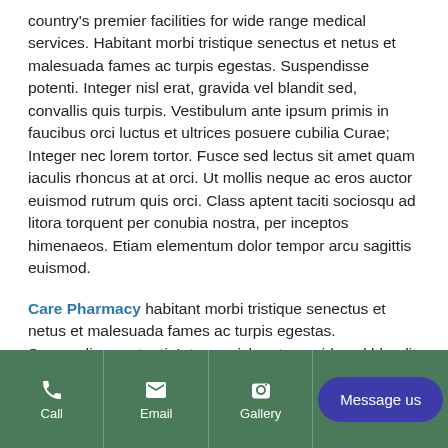country's premier facilities for wide range medical services. Habitant morbi tristique senectus et netus et malesuada fames ac turpis egestas. Suspendisse potenti. Integer nisl erat, gravida vel blandit sed, convallis quis turpis. Vestibulum ante ipsum primis in faucibus orci luctus et ultrices posuere cubilia Curae; Integer nec lorem tortor. Fusce sed lectus sit amet quam iaculis rhoncus at at orci. Ut mollis neque ac eros auctor euismod rutrum quis orci. Class aptent taciti sociosqu ad litora torquent per conubia nostra, per inceptos himenaeos. Etiam elementum dolor tempor arcu sagittis euismod.
Care Pharmacy habitant morbi tristique senectus et netus et malesuada fames ac turpis egestas. Suspendisse potenti. Integer nisl erat, gravida vel blandit sed, convallis quis turpis, arcu sagittis euismod.
Call | Email | Gallery | Message us